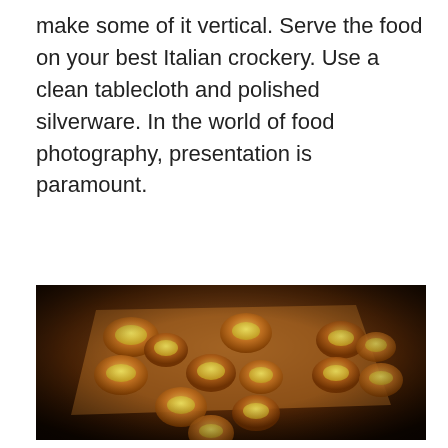make some of it vertical. Serve the food on your best Italian crockery. Use a clean tablecloth and polished silverware. In the world of food photography, presentation is paramount.
[Figure (photo): Overhead view of toasted bread slices with melted cheese arranged on parchment paper on a baking tray, lit with warm amber light.]